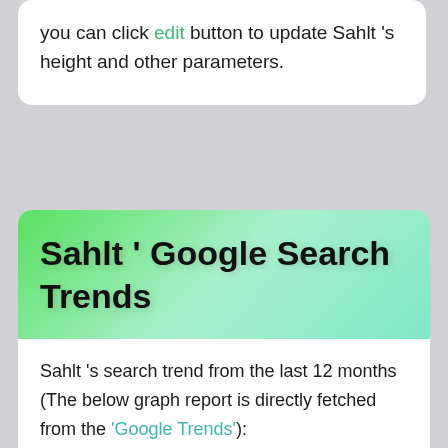you can click edit button to update Sahlt 's height and other parameters.
Sahlt ' Google Search Trends
Sahlt 's search trend from the last 12 months (The below graph report is directly fetched from the 'Google Trends'):
[Figure (other): Empty white box placeholder for an embedded Google Trends chart]